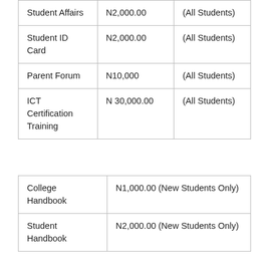| Student Affairs | N2,000.00 | (All Students) |
| Student ID Card | N2,000.00 | (All Students) |
| Parent Forum | N10,000 | (All Students) |
| ICT Certification Training | N 30,000.00 | (All Students) |
| College Handbook | N1,000.00 (New Students Only) |
| Student Handbook | N2,000.00 (New Students Only) |